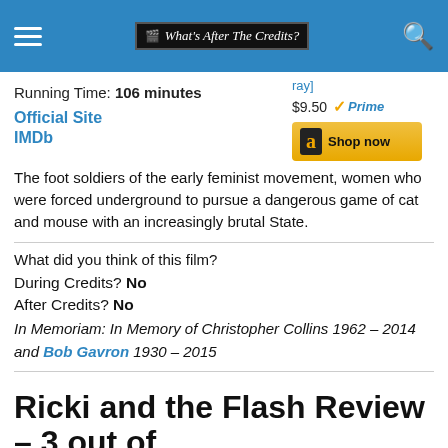What's After The Credits?
Running Time: 106 minutes
Official Site
IMDb
ray]
$9.50 Prime
Shop now
The foot soldiers of the early feminist movement, women who were forced underground to pursue a dangerous game of cat and mouse with an increasingly brutal State.
What did you think of this film?
During Credits? No
After Credits? No
In Memoriam: In Memory of Christopher Collins 1962 – 2014 and Bob Gavron 1930 – 2015
Ricki and the Flash Review – 3 out of